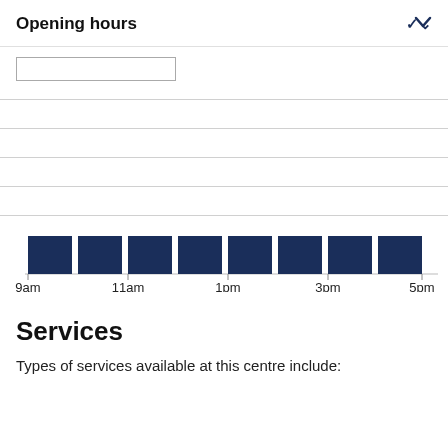Opening hours
[Figure (bar-chart): A timeline chart showing opening hours from 9am to 5pm with dark navy blue blocks indicating open periods]
Services
Types of services available at this centre include: